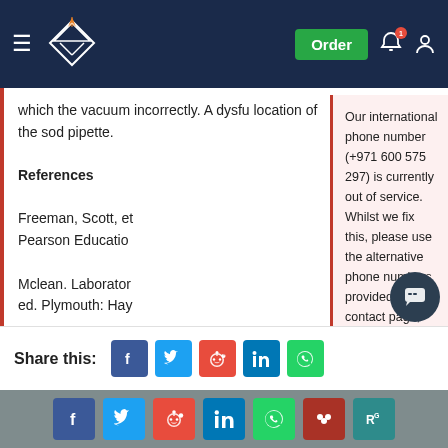IvyPanda header with logo, Order button, notification bell, user icon
which the vacuum incorrectly. A dysfunctional location of the sod pipette.
References
Freeman, Scott, et al. Pearson Education
Mclean. Laboratory ed. Plymouth: Hay
Our international phone number (+971 600 575 297) is currently out of service. Whilst we fix this, please use the alternative phone numbers provided on the contact page, message through your customer account or click the WhatsApp button from your mobile (Monday – Friday 9am – 5pm, Saturday 10am – 6pm UK time).
August 20, 2022
Share this:
[Figure (infographic): Social share icons: Facebook (blue), Twitter (light blue), Reddit (orange-red), LinkedIn (blue), WhatsApp (green)]
[Figure (infographic): Footer social share icons: Facebook, Twitter, Reddit, LinkedIn, WhatsApp, Mendeley (dark red), ResearchGate (teal)]